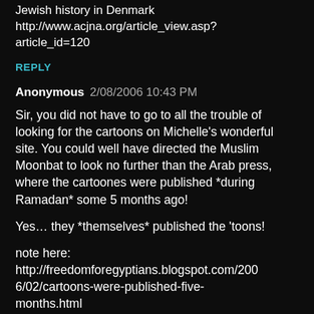Jewish history in Denmark http://www.acjna.org/article_view.asp?article_id=120
REPLY
Anonymous 2/08/2006 10:43 PM
Sir, you did not have to go to all the trouble of looking for the cartoons on Michelle's wonderful site. You could well have directed the Muslim Moonbat to look no further than the Arab press, where the cartoones were published *during Ramadan* some 5 months ago!
Yes... they *themselves* published the 'toons!
note here: http://freedomforegyptians.blogspot.com/2006/02/cartoons-were-published-five-months.html
and here: http://egyptiansandmonkey.blogspot.com/200